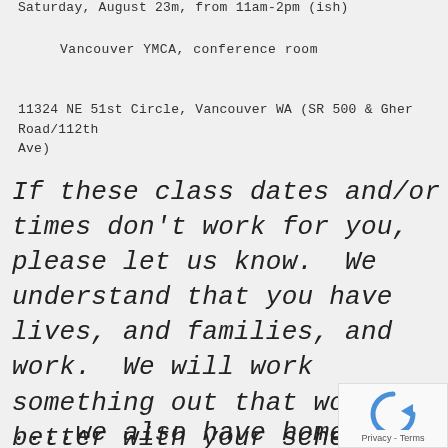Saturday, August 23m, from 11am-2pm (ish)
Vancouver YMCA, conference room
11324 NE 51st Circle, Vancouver WA (SR 500 & Gher Road/112th Ave)
If these class dates and/or times don't work for you, please let us know.  We understand that you have lives, and families, and work.  We will work something out that works better with your schedule.  Just let us know....
....we also have home seller class
[Figure (other): reCAPTCHA widget with Privacy and Terms text]